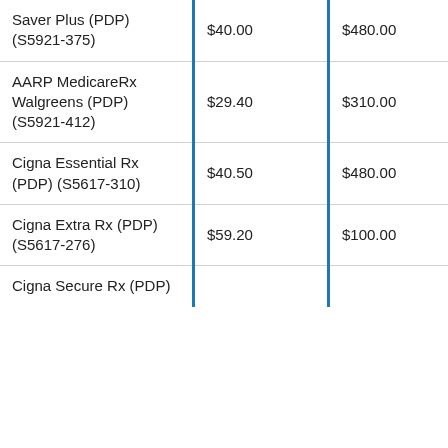| Plan Name | Monthly Premium | Annual Premium | ... |
| --- | --- | --- | --- |
| Saver Plus (PDP) (S5921-375) | $40.00 | $480.00 | Ba |
| AARP MedicareRx Walgreens (PDP) (S5921-412) | $29.40 | $310.00 | En |
| Cigna Essential Rx (PDP) (S5617-310) | $40.50 | $480.00 | En |
| Cigna Extra Rx (PDP) (S5617-276) | $59.20 | $100.00 | En |
| Cigna Secure Rx (PDP) | $... | $... | Ba |